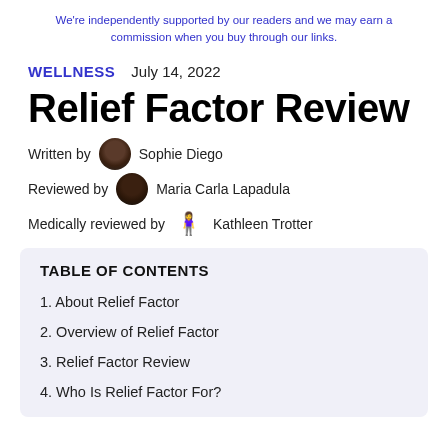We're independently supported by our readers and we may earn a commission when you buy through our links.
WELLNESS   July 14, 2022
Relief Factor Review
Written by  Sophie Diego
Reviewed by  Maria Carla Lapadula
Medically reviewed by  Kathleen Trotter
TABLE OF CONTENTS
1. About Relief Factor
2. Overview of Relief Factor
3. Relief Factor Review
4. Who Is Relief Factor For?